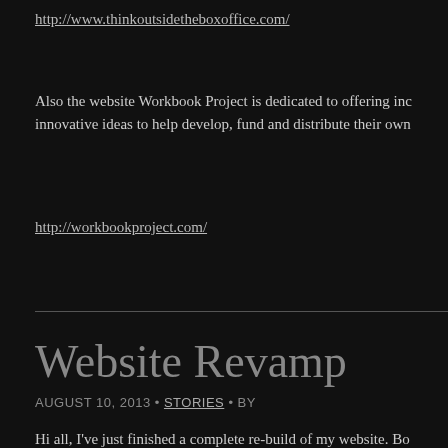http://www.thinkoutsidetheboxoffice.com/
Also the website Workbook Project is dedicated to offering innovative ideas to help develop, fund and distribute their own
http://workbookproject.com/
Website Revamp
AUGUST 10, 2013 • STORIES • BY
Hi all, I've just finished a complete re-build of my website. Both my primary platform for news and info about my projects, as well as musings.